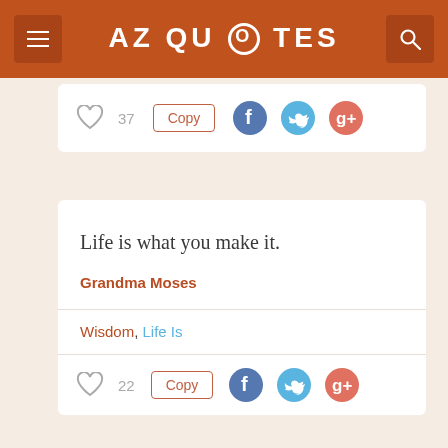AZ QUOTES
[Figure (screenshot): Partial card showing heart icon with count 37, Copy button, Facebook, Twitter, Google+ icons]
Life is what you make it.
Grandma Moses
Wisdom, Life Is
22  Copy